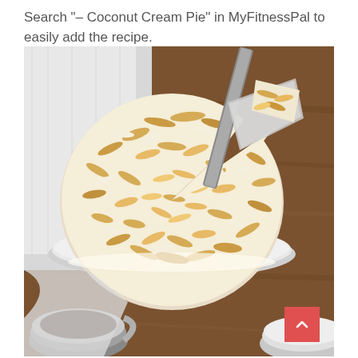Search "– Coconut Cream Pie" in MyFitnessPal to easily add the recipe.
[Figure (photo): Top-down view of a coconut cream pie covered in toasted coconut flakes on a white plate, with a slice being lifted by a spatula. Two coffee cups visible at the bottom. Wooden table background with a white cloth.]